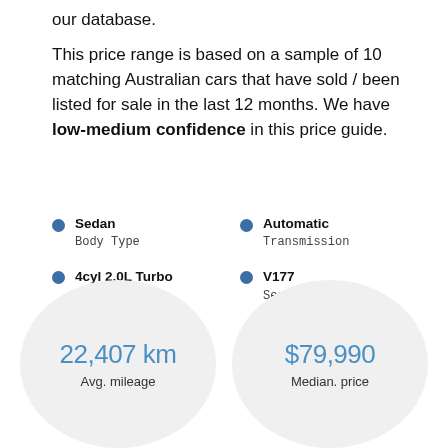our database.
This price range is based on a sample of 10 matching Australian cars that have sold / been listed for sale in the last 12 months. We have low-medium confidence in this price guide.
Sedan
Body Type
Automatic
Transmission
4cyl 2.0L Turbo Petrol
Engine
V177
Series
22,407 km
Avg. mileage
$79,990
Median. price